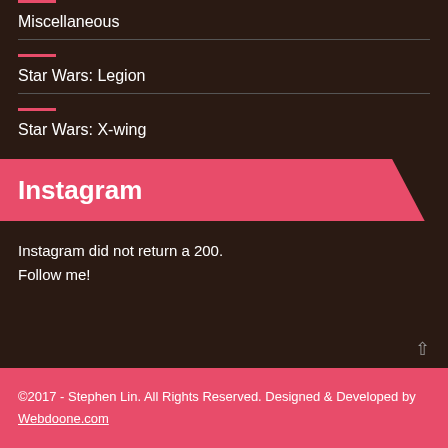Miscellaneous
Star Wars: Legion
Star Wars: X-wing
Instagram
Instagram did not return a 200.
Follow me!
©2017 - Stephen Lin. All Rights Reserved. Designed & Developed by Webdoone.com